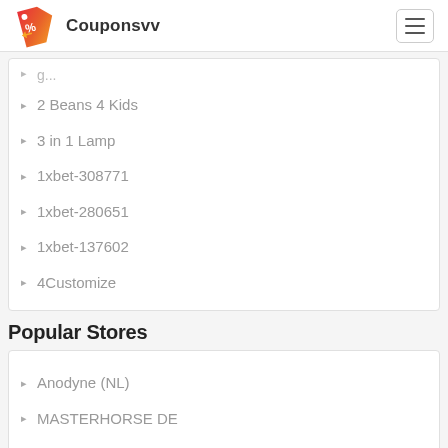Couponsvv
2 Beans 4 Kids
3 in 1 Lamp
1xbet-308771
1xbet-280651
1xbet-137602
4Customize
Popular Stores
Anodyne (NL)
MASTERHORSE DE
Help Timberland
Apkhomedecor